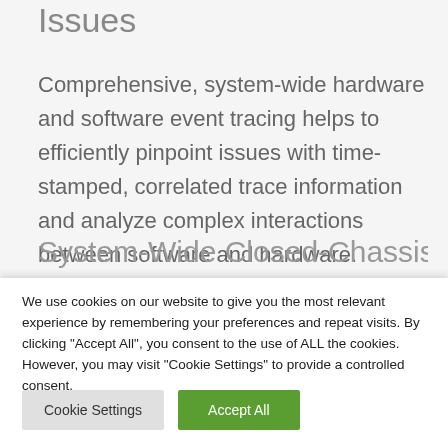Issues
Comprehensive, system-wide hardware and software event tracing helps to efficiently pinpoint issues with time-stamped, correlated trace information and analyze complex interactions between software and hardware.
System-Wide Closed-Chassis
We use cookies on our website to give you the most relevant experience by remembering your preferences and repeat visits. By clicking "Accept All", you consent to the use of ALL the cookies. However, you may visit "Cookie Settings" to provide a controlled consent.